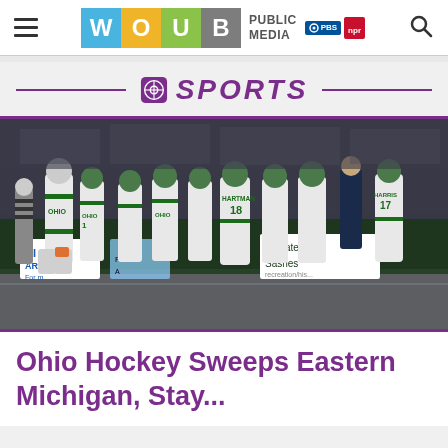WOUB Public Media — PBS NPR navigation header
SPORTS
[Figure (photo): Ohio University hockey team players in white and green jerseys gathered near the boards during a game, with player HARTMAN #18 visible, and rink-side advertising boards in background]
Ohio Hockey Sweeps Eastern Michigan, Stays Undefeated